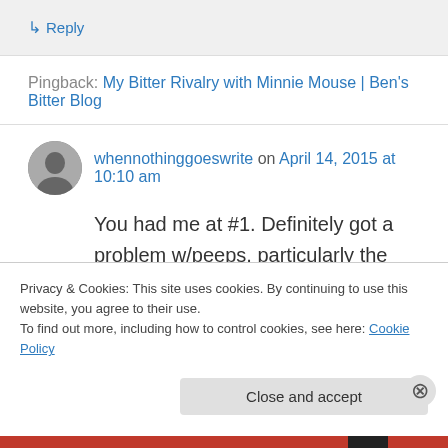↳ Reply
Pingback: My Bitter Rivalry with Minnie Mouse | Ben's Bitter Blog
whennothinggoeswrite on April 14, 2015 at 10:10 am
You had me at #1. Definitely got a problem w/peeps, particularly the candy. Apples, crime shows, advil…I'm done with all that shit!
Privacy & Cookies: This site uses cookies. By continuing to use this website, you agree to their use.
To find out more, including how to control cookies, see here: Cookie Policy
Close and accept